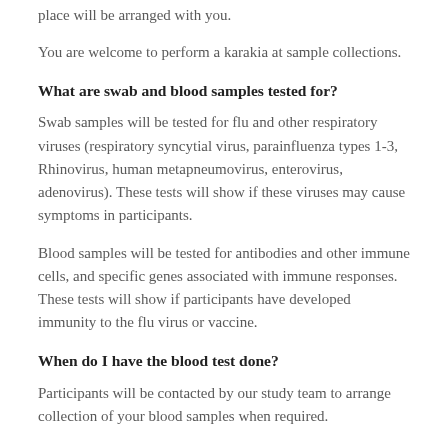place will be arranged with you.
You are welcome to perform a karakia at sample collections.
What are swab and blood samples tested for?
Swab samples will be tested for flu and other respiratory viruses (respiratory syncytial virus, parainfluenza types 1-3, Rhinovirus, human metapneumovirus, enterovirus, adenovirus). These tests will show if these viruses may cause symptoms in participants.
Blood samples will be tested for antibodies and other immune cells, and specific genes associated with immune responses. These tests will show if participants have developed immunity to the flu virus or vaccine.
When do I have the blood test done?
Participants will be contacted by our study team to arrange collection of your blood samples when required.